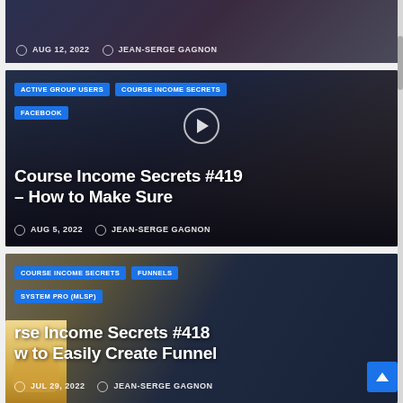[Figure (screenshot): Partial top card showing AUG 12, 2022 and JEAN-SERGE GAGNON blog post footer]
AUG 12, 2022  JEAN-SERGE GAGNON
[Figure (screenshot): Blog post card for Course Income Secrets #419 - How to Make Sure, tagged ACTIVE GROUP USERS, COURSE INCOME SECRETS, FACEBOOK, dated AUG 5, 2022 by JEAN-SERGE GAGNON]
ACTIVE GROUP USERS
COURSE INCOME SECRETS
FACEBOOK
Course Income Secrets #419 – How to Make Sure
AUG 5, 2022  JEAN-SERGE GAGNON
[Figure (screenshot): Blog post card for Course Income Secrets #418 - How to Easily Create Funnel, tagged COURSE INCOME SECRETS, FUNNELS, SYSTEM PRO (MLSP), dated JUL 29, 2022 by JEAN-SERGE GAGNON]
COURSE INCOME SECRETS
FUNNELS
SYSTEM PRO (MLSP)
rse Income Secrets #418 w to Easily Create Funnel
JUL 29, 2022  JEAN-SERGE GAGNON